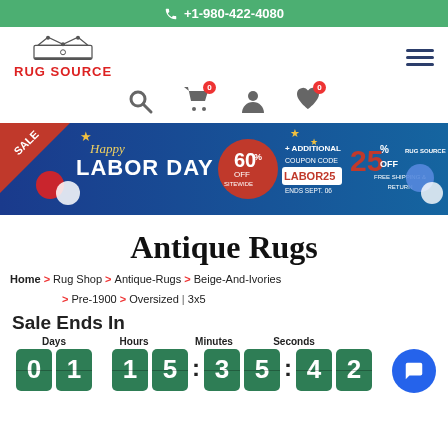+1-980-422-4080
[Figure (logo): Rug Source logo with crown graphic and red text]
[Figure (infographic): Labor Day sale banner: Happy Labor Day 60% OFF sitewide + Additional Coupon Code LABOR25 25% OFF Ends Sept. 06 Free Shipping & Return]
Antique Rugs
Home > Rug Shop > Antique-Rugs > Beige-And-Ivories > Pre-1900 > Oversized | 3x5
Sale Ends In
Days Hours Minutes Seconds 01 : 15 : 35 : 42